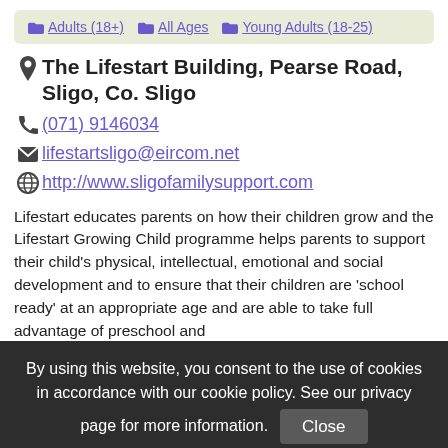Adults (18+)  All Ages  Young Adults (18-25)
The Lifestart Building, Pearse Road, Sligo, Co. Sligo
(071) 9146034
lifestartsligo@eircom.net
http://www.sligofamilysupport.com
Lifestart educates parents on how their children grow and the Lifestart Growing Child programme helps parents to support their child's physical, intellectual, emotional and social development and to ensure that their children are 'school ready' at an appropriate age and are able to take full advantage of preschool and formal learning.
By using this website, you consent to the use of cookies in accordance with our cookie policy. See our privacy page for more information. Close